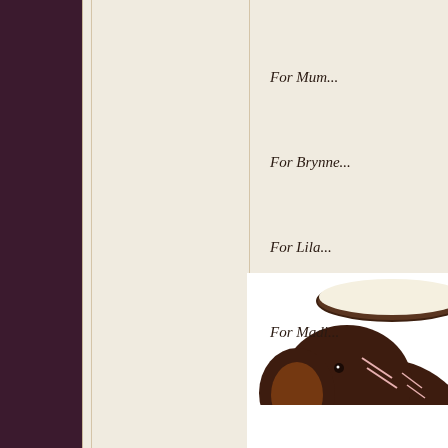[Figure (photo): Dark purple decorative left panel]
For Mum...
For Brynne...
For Lila...
For Madi...
[Figure (photo): Dark brown ceramic elephant figurine mug with decorative pink line patterns and striped rectangle design, viewed from the front-left, with a white interior visible from top]